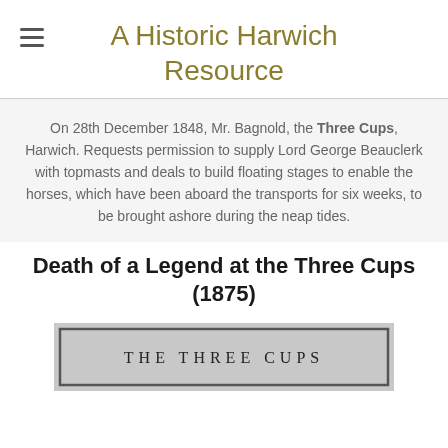A Historic Harwich Resource
On 28th December 1848, Mr. Bagnold, the Three Cups, Harwich. Requests permission to supply Lord George Beauclerk with topmasts and deals to build floating stages to enable the horses, which have been aboard the transports for six weeks, to be brought ashore during the neap tides.
Death of a Legend at the Three Cups (1875)
[Figure (photo): A stone or metal plaque/sign reading 'THE THREE CUPS']